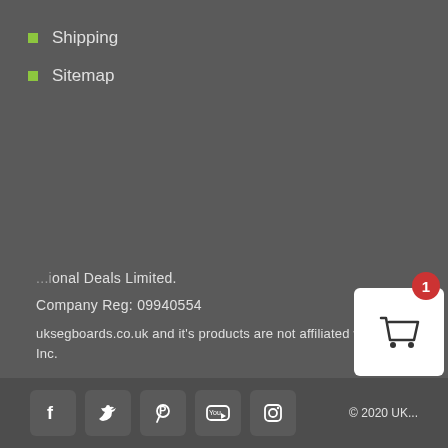Shipping
Sitemap
[Figure (logo): Powered by Barclaycard payment logo with VISA, MasterCard, Maestro, JCB card logos]
National Deals Limited.
Company Reg: 09940554
uksegboards.co.uk and it's products are not affiliated with Segway Inc.
© 2020 UK...